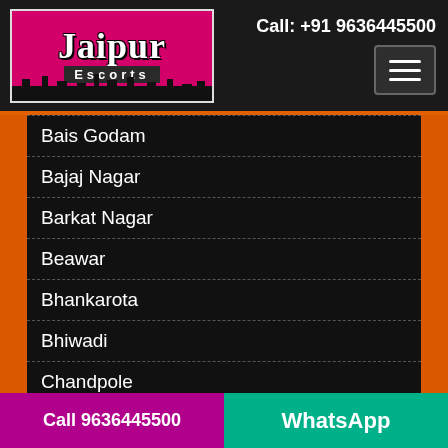Call: +91 9636445500
[Figure (logo): Jaipur Escorts logo with pink background and city silhouette]
Bais Godam
Bajaj Nagar
Barkat Nagar
Beawar
Bhankarota
Bhiwadi
Chandpole
Gangori Bazar
Malviya Nagar
Call 9636445500 | WhatsApp